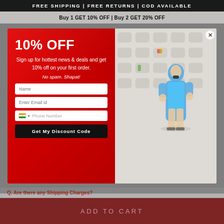FREE SHIPPING | FREE RETURNS | COD AVAILABLE
Buy 1 GET 10% OFF | Buy 2 GET 20% OFF
[Figure (screenshot): Promotional popup modal with red left panel showing '10% OFF' discount offer, signup form fields for Name, Email, Phone Number, and 'Get My Discount Code' button. Right panel shows a woman in a blue dress posing in a white room.]
Q. Are there any Shipping Charges?
ADD TO CART